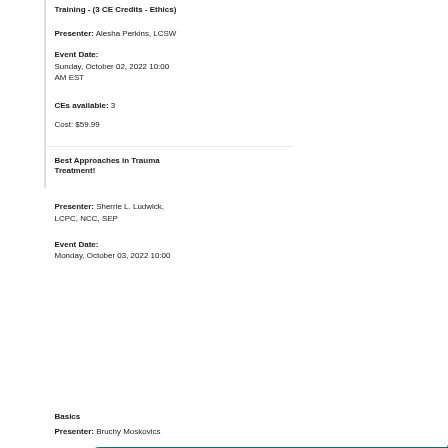Training - (3 CE Credits - Ethics)
Presenter: Alesha Perkins, LCSW
Event Date:
Sunday, October 02, 2022 10:00 AM EST
CEs available: 3
Cost: $59.99
Best Approaches in Trauma Treatment!
Presenter: Sherrie L. Ludwick, LCPC, NCC, SEP
Event Date:
Monday, October 03, 2022 10:00
[Figure (screenshot): Email capture popup with teal background, text 'Enter your email address here:', an input field, a close X button, and a light blue 'I AM NOT A ROBOT >>' button]
Basics
Presenter: Bruchy Moskovics